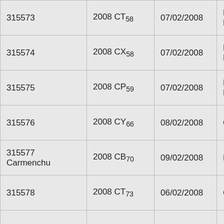| 315573 | 2008 CT58 | 07/02/2008 | Mount Lemmon |
| 315574 | 2008 CX58 | 07/02/2008 | Mount Lemmon |
| 315575 | 2008 CP59 | 07/02/2008 | Mount Lemmon |
| 315576 | 2008 CY66 | 08/02/2008 | Catalina |
| 315577 Carmenchu | 2008 CB70 | 09/02/2008 | La Cañada |
| 315578 | 2008 CT73 | 06/02/2008 | Catalina |
|  |  |  |  |